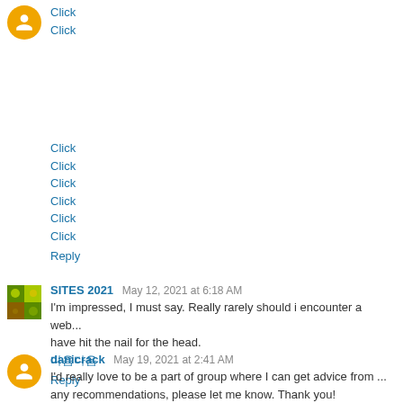Click
Click
Click
Click
Click
Click
Click
Click
Reply
SITES 2021  May 12, 2021 at 6:18 AM
I'm impressed, I must say. Really rarely should i encounter a web... have hit the nail for the head.
다음다음
Reply
danicrack  May 19, 2021 at 2:41 AM
I'd really love to be a part of group where I can get advice from ... any recommendations, please let me know. Thank you!